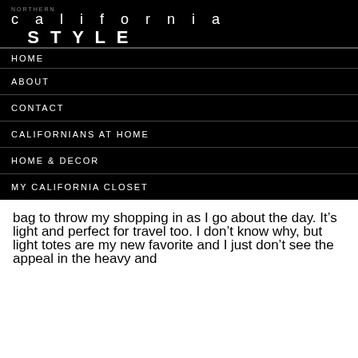NORTHERN california STYLE
HOME
ABOUT
CONTACT
CALIFORNIANS AT HOME
HOME & DECOR
MY CALIFORNIA CLOSET
bag to throw my shopping in as I go about the day. It’s light and perfect for travel too. I don’t know why, but light totes are my new favorite and I just don’t see the appeal in the heavy and